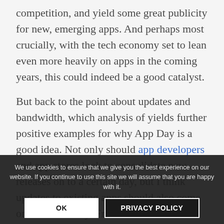competition, and yield some great publicity for new, emerging apps. And perhaps most crucially, with the tech economy set to lean even more heavily on apps in the coming years, this could indeed be a good catalyst.
But back to the point about updates and bandwidth, which analysis of yields further positive examples for why App Day is a good idea. Not only should app developers and app stores look to consolidate new releases on to a certain day, but I think updates to existing apps should also come on that same day. From the consumer's perspective, easier to manage, would mean that apps would need to be updated less frequently, and also
We use cookies to ensure that we give you the best experience on our website. If you continue to use this site we will assume that you are happy with it.